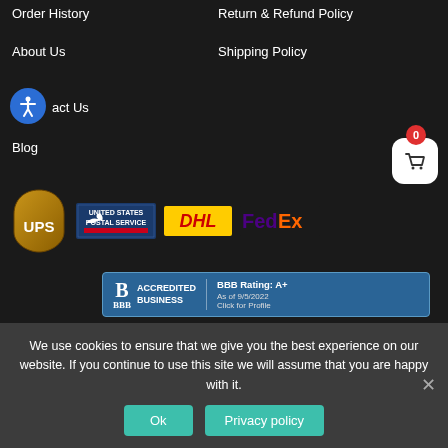Order History
Return & Refund Policy
About Us
Shipping Policy
Contact Us
Blog
[Figure (logo): UPS shipping logo - brown shield with gold UPS letters]
[Figure (logo): United States Postal Service logo]
[Figure (logo): DHL shipping logo - yellow and red]
[Figure (logo): FedEx logo - purple and orange]
[Figure (logo): BBB Accredited Business badge - BBB Rating: A+ As of 9/5/2022 Click for Profile]
[Figure (logo): Visa, American Express, MasterCard, Discover payment logos]
We use cookies to ensure that we give you the best experience on our website. If you continue to use this site we will assume that you are happy with it.
Ok
Privacy policy